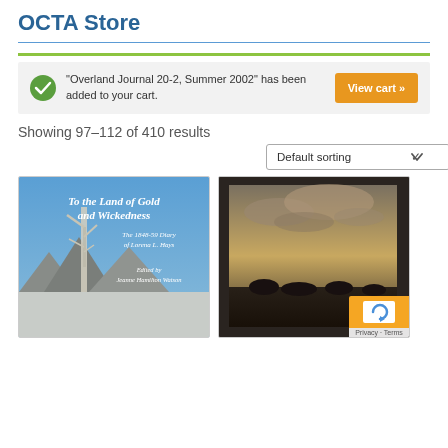OCTA Store
“Overland Journal 20-2, Summer 2002” has been added to your cart.
Showing 97–112 of 410 results
[Figure (screenshot): Default sorting dropdown selector]
[Figure (illustration): Book cover: To the Land of Gold and Wickedness, The 1848-59 Diary of Lorena L. Hays, Edited by Jeanne Hamilton Watson]
[Figure (photo): Book cover showing a landscape with cloudy sky and dark silhouettes of trees/rocks]